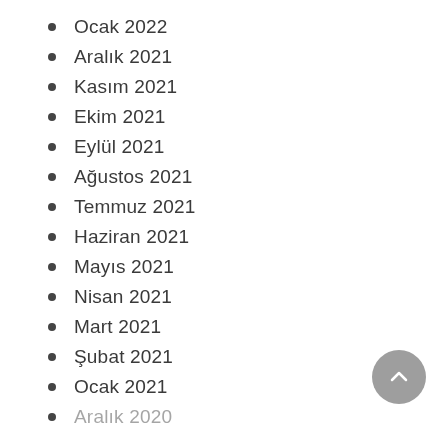Ocak 2022
Aralık 2021
Kasım 2021
Ekim 2021
Eylül 2021
Ağustos 2021
Temmuz 2021
Haziran 2021
Mayıs 2021
Nisan 2021
Mart 2021
Şubat 2021
Ocak 2021
Aralık 2020